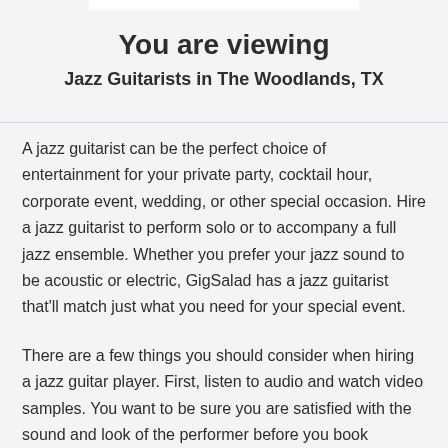You are viewing
Jazz Guitarists in The Woodlands, TX
A jazz guitarist can be the perfect choice of entertainment for your private party, cocktail hour, corporate event, wedding, or other special occasion. Hire a jazz guitarist to perform solo or to accompany a full jazz ensemble. Whether you prefer your jazz sound to be acoustic or electric, GigSalad has a jazz guitarist that'll match just what you need for your special event.
There are a few things you should consider when hiring a jazz guitar player. First, listen to audio and watch video samples. You want to be sure you are satisfied with the sound and look of the performer before you book him/her. Next, get references and read reviews. Talk to people in the area who have seen the performer